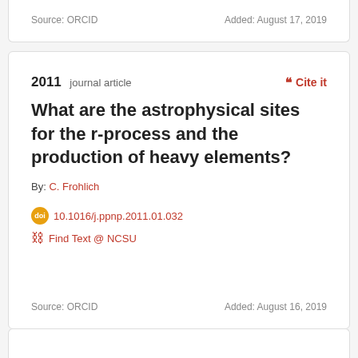Source: ORCID    Added: August 17, 2019
2011  journal article
❝ Cite it
What are the astrophysical sites for the r-process and the production of heavy elements?
By: C. Frohlich
10.1016/j.ppnp.2011.01.032
Find Text @ NCSU
Source: ORCID    Added: August 16, 2019